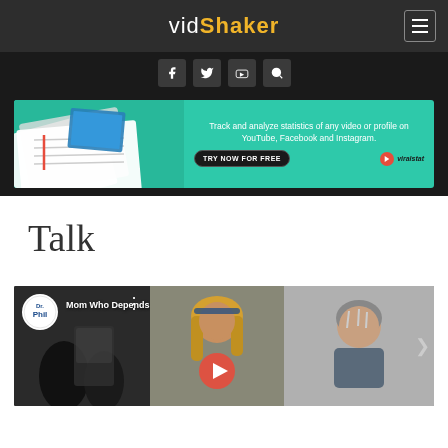vidShaker
[Figure (screenshot): Social media icons bar: Facebook, Twitter, YouTube, Search icons on dark background]
[Figure (other): Advertisement banner for viralstat: Track and analyze statistics of any video or profile on YouTube, Facebook and Instagram. TRY NOW FOR FREE]
Talk
[Figure (screenshot): Video thumbnail showing Dr. Phil channel video titled 'Mom Who Depends On Daughter F...' with three panels showing different scenes]